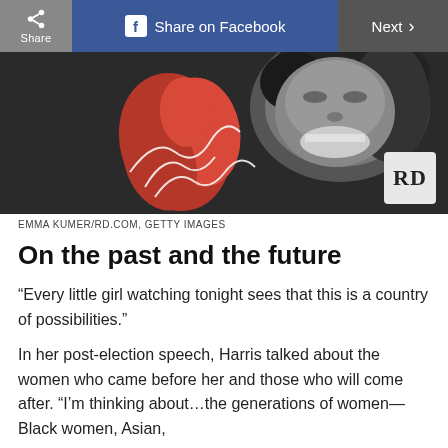Share | Share on Facebook | Next >
[Figure (photo): Black and white photo of a woman laughing, with a red painted brushstroke graphic overlay and white signature/logo. RD badge in bottom right corner.]
EMMA KUMER/RD.COM, GETTY IMAGES
On the past and the future
“Every little girl watching tonight sees that this is a country of possibilities.”
In her post-election speech, Harris talked about the women who came before her and those who will come after. “I’m thinking about…the generations of women—Black women, Asian,